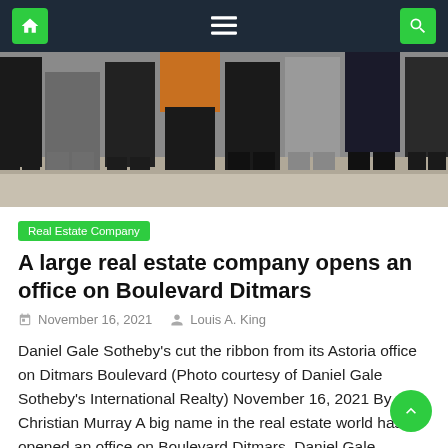Navigation bar with home, menu, and search icons
[Figure (photo): A group of people standing on a sidewalk, showing legs and feet from the waist down, various outfits including black pants, gray pants, and heeled shoes.]
Real Estate Company
A large real estate company opens an office on Boulevard Ditmars
November 16, 2021   Louis A. King
Daniel Gale Sotheby's cut the ribbon from its Astoria office on Ditmars Boulevard (Photo courtesy of Daniel Gale Sotheby's International Realty) November 16, 2021 By Christian Murray A big name in the real estate world has opened an office on Boulevard Ditmars. Daniel Gale Sotheby's International Realty, with a strong presence on